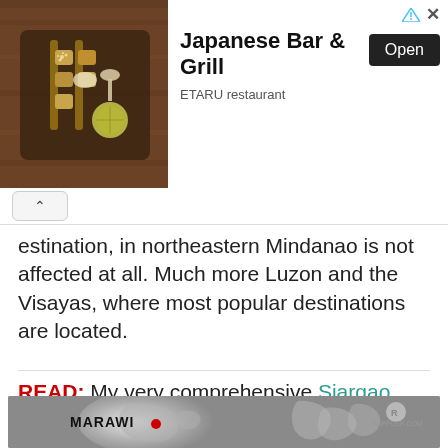[Figure (photo): Advertisement banner for Japanese Bar & Grill - ETARU restaurant. Shows food photo on left, text 'Japanese Bar & Grill' with Open button and 'ETARU restaurant' subtitle on right.]
estination, in northeastern Mindanao is not affected at all. Much more Luzon and the Visayas, where most popular destinations are located.
READ: My very comprehensive Siargao Travel Guide. It took me hours to write it! As if this one, didn't. 😛
[Figure (map): Map showing Marawi location with a red dot marker, on a grey map of the Philippines. Rappler.com logo visible in upper right.]